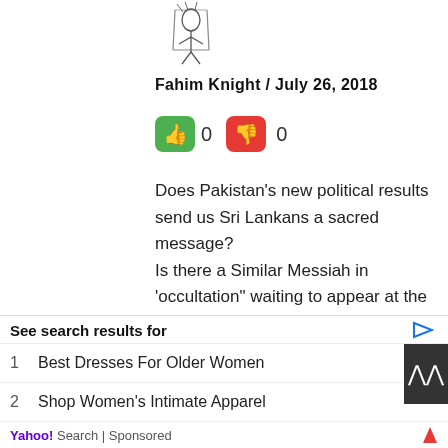[Figure (illustration): Black and white sketch of a person figure, avatar/profile image]
Fahim Knight / July 26, 2018
[Figure (infographic): Green thumbs-up button showing 0 votes, Red thumbs-down button showing 0 votes]
Does Pakistan’s new political results send us Sri Lankans a sacred message?
Is there a Similar Messiah in ‘occultation” waiting to appear at the right time ?,who will be purifying our beloved land & uniting the people as one brotherhood ?
Only someone who is not polluted with politics and someone who has no past dirt on him and one who can be easily loved by all
[Figure (other): Large black X close button in the bottom right area]
See search results for
1   Best Dresses For Older Women
2   Shop Women's Intimate Apparel
Yahoo! Search | Sponsored